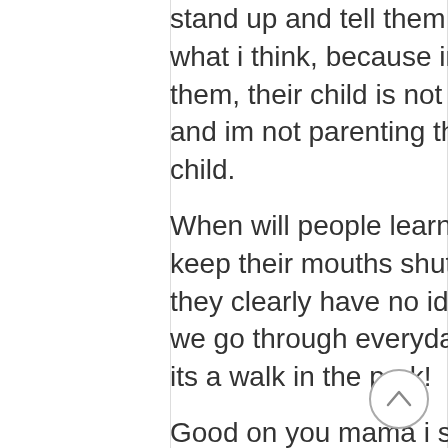stand up and tell them thats what i think, because im not them, their child is not mine and im not parenting their child.
When will people learn to keep their mouths shut when they clearly have no idea what we go through everyday, as if its a walk in the park!
Good on you mama i say SUCK IT AUTISM aswell! xx